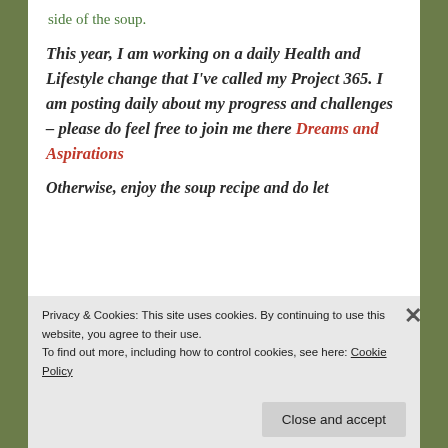side of the soup.
This year, I am working on a daily Health and Lifestyle change that I've called my Project 365. I am posting daily about my progress and challenges – please do feel free to join me there Dreams and Aspirations
Otherwise, enjoy the soup recipe and do let
Privacy & Cookies: This site uses cookies. By continuing to use this website, you agree to their use.
To find out more, including how to control cookies, see here: Cookie Policy
Close and accept